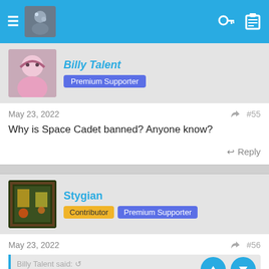Navigation bar with hamburger menu, avatar, key icon, clipboard icon
Billy Talent
Premium Supporter
May 23, 2022  #55
Why is Space Cadet banned? Anyone know?
Reply
Stygian
Contributor  Premium Supporter
May 23, 2022  #56
Billy Talent said:
Why is Space Cadet banned? Anyone know?